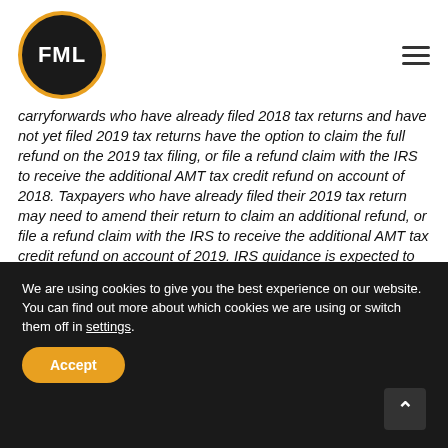FML
carryforwards who have already filed 2018 tax returns and have not yet filed 2019 tax returns have the option to claim the full refund on the 2019 tax filing, or file a refund claim with the IRS to receive the additional AMT tax credit refund on account of 2018. Taxpayers who have already filed their 2019 tax return may need to amend their return to claim an additional refund, or file a refund claim with the IRS to receive the additional AMT tax credit refund on account of 2019. IRS guidance is expected to follow shortly.
We are using cookies to give you the best experience on our website.
You can find out more about which cookies we are using or switch them off in settings.
Accept